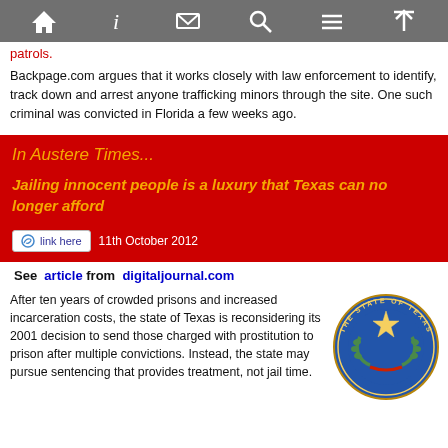[navigation bar with home, info, mail, search, menu, up icons]
patrols.
Backpage.com argues that it works closely with law enforcement to identify, track down and arrest anyone trafficking minors through the site. One such criminal was convicted in Florida a few weeks ago.
In Austere Times...
Jailing innocent people is a luxury that Texas can no longer afford
link here   11th October 2012
See  article from  digitaljournal.com
After ten years of crowded prisons and increased incarceration costs, the state of Texas is reconsidering its 2001 decision to send those charged with prostitution to prison after multiple convictions. Instead, the state may pursue sentencing that provides treatment, not jail time.
[Figure (illustration): The State of Texas circular seal — blue background with star, wreath, and text 'THE STATE OF TEXAS' around the border.]